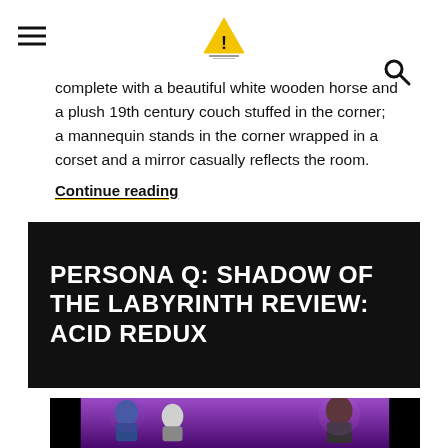[hamburger menu] [logo] [search icon]
complete with a beautiful white wooden horse and a plush 19th century couch stuffed in the corner; a mannequin stands in the corner wrapped in a corset and a mirror casually reflects the room.
Continue reading
PERSONA Q: SHADOW OF THE LABYRINTH REVIEW: ACID REDUX
[Figure (illustration): Chibi-style anime characters from Persona Q game standing in front of a purple glowing background with enemies]